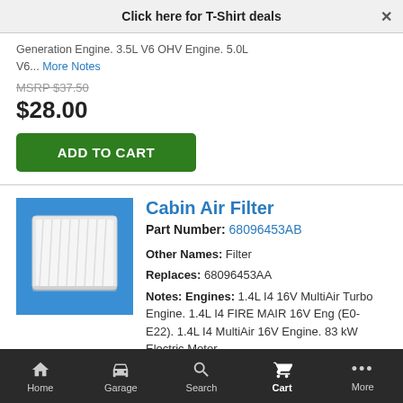Click here for T-Shirt deals
Generation Engine. 3.5L V6 OHV Engine. 5.0L V6... More Notes
MSRP $37.50
$28.00
ADD TO CART
Cabin Air Filter
Part Number: 68096453AB
Other Names: Filter
Replaces: 68096453AA
Notes: Engines: 1.4L I4 16V MultiAir Turbo Engine. 1.4L I4 FIRE MAIR 16V Eng (E0-E22). 1.4L I4 MultiAir 16V Engine. 83 kW Electric Motor.
MSRP $32.20
$24.06
Home  Garage  Search  Cart  More